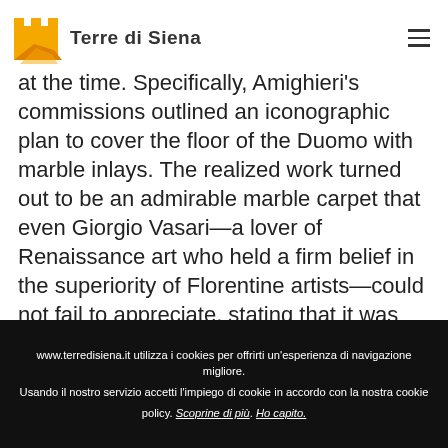Terre di Siena
at the time. Specifically, Amighieri's commissions outlined an iconographic plan to cover the floor of the Duomo with marble inlays. The realized work turned out to be an admirable marble carpet that even Giorgio Vasari—a lover of Renaissance art who held a firm belief in the superiority of Florentine artists—could not fail to appreciate, stating that it was
www.terredisiena.it utilizza i cookies per offrirti un'esperienza di navigazione migliore. Usando il nostro servizio accetti l'impiego di cookie in accordo con la nostra cookie policy. Scoprine di più. Ho capito.